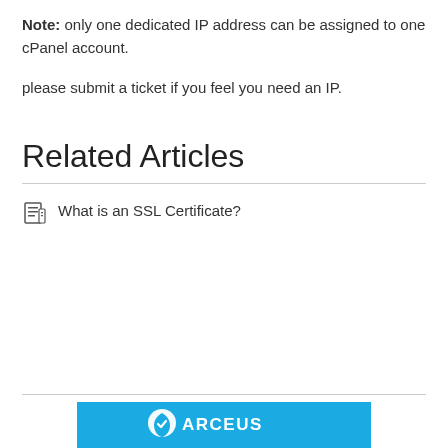Note: only one dedicated IP address can be assigned to one cPanel account.
please submit a ticket if you feel you need an IP.
Related Articles
What is an SSL Certificate?
[Figure (logo): Arceus/hosting company logo on blue background]